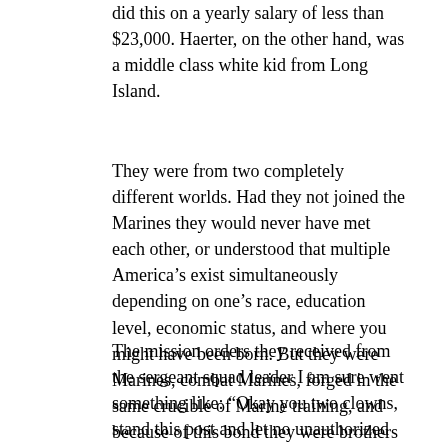did this on a yearly salary of less than $23,000. Haerter, on the other hand, was a middle class white kid from Long Island.
They were from two completely different worlds. Had they not joined the Marines they would never have met each other, or understood that multiple America's exist simultaneously depending on one's race, education level, economic status, and where you might have been born. But they were Marines, combat Marines, forged in the same crucible of Marine training, and because of this bond they were brothers as close, or closer, than if they were born of the same woman.
The mission orders they received from the sergeant squad leader I am sure went something like: “Okay you two clowns, stand this post and let no unauthorized personnel or vehicles pass.” “You clear?” I am also sure Yale and Haerter then rolled their eyes and said in